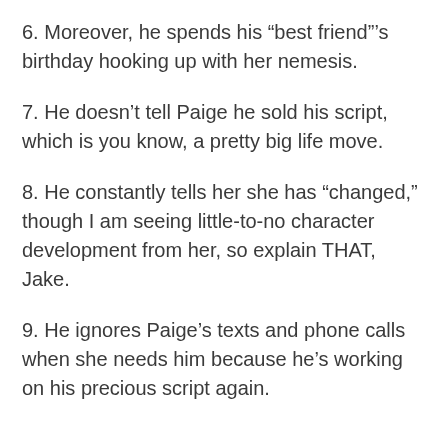6. Moreover, he spends his “best friend”’s birthday hooking up with her nemesis.
7. He doesn’t tell Paige he sold his script, which is you know, a pretty big life move.
8. He constantly tells her she has “changed,” though I am seeing little-to-no character development from her, so explain THAT, Jake.
9. He ignores Paige’s texts and phone calls when she needs him because he’s working on his precious script again.